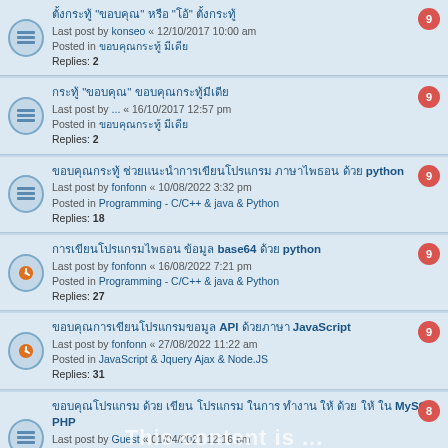ตั้งกระทู้ "ขอบคุณ" หรือ "โอ้" ตั้งกระทู้
Last post by konseo « 12/10/2017 10:00 am
Posted in ขอบคุณกระทู้ มีเดีย
Replies: 2
กระทู้ "ขอบคุณ" ขอบคุณกระทู้มีเดีย
Last post by ... « 16/10/2017 12:57 pm
Posted in ขอบคุณกระทู้ มีเดีย
Replies: 2
ขอบคุณกระทู้ ช่วยแนะนำการเขียนโปรแกรม ภาษาไพธอน ด้วย python
Last post by fonfonn « 10/08/2022 3:32 pm
Posted in Programming - C/C++ & java & Python
Replies: 18
การเขียนโปรแกรมไพธอน ข้อมูล base64 ด้วย python
Last post by fonfonn « 16/08/2022 7:21 pm
Posted in Programming - C/C++ & java & Python
Replies: 27
ขอบคุณการเขียนโปรแกรมขอมูล API ด้วยภาษา JavaScript
Last post by fonfonn « 27/08/2022 11:22 am
Posted in JavaScript & Jquery Ajax & Node.JS
Replies: 31
ขอบคุณโปรแกรม ด้วย เขียน โปรแกรม ในการ ทำงาน ให้ MySQL PHP
Last post by Guest « 01/04/2021 12:16 pm
Posted in Share Knowledge
Replies: 5
Q :ขอบคุณโปรแกรมเขียนโปรแกรม[ด้วยภาษา ขอบคุณโปรแกรมเขียนโปรแกรม
ด้วยภาษา default มีเดีย
Last post by Parichat « 22/02/2018 7:21 pm
Posted in Joomla Development
Replies: 94